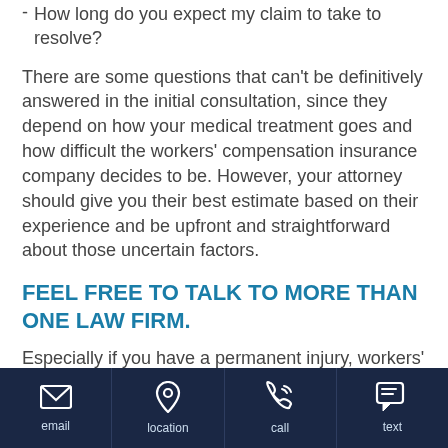- How long do you expect my claim to take to resolve?
There are some questions that can't be definitively answered in the initial consultation, since they depend on how your medical treatment goes and how difficult the workers' compensation insurance company decides to be. However, your attorney should give you their best estimate based on their experience and be upfront and straightforward about those uncertain factors.
FEEL FREE TO TALK TO MORE THAN ONE LAW FIRM.
Especially if you have a permanent injury, workers' compensation can be a lengthy and challenging
email | location | call | text